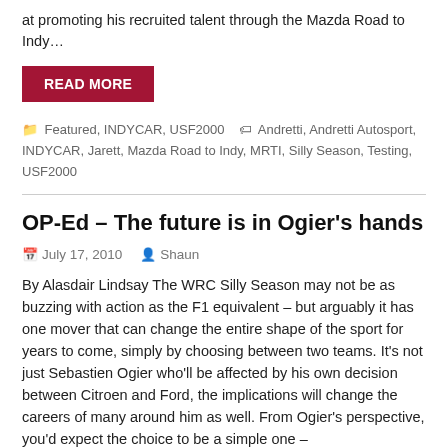at promoting his recruited talent through the Mazda Road to Indy…
READ MORE
Featured, INDYCAR, USF2000   Andretti, Andretti Autosport, INDYCAR, Jarett, Mazda Road to Indy, MRTI, Silly Season, Testing, USF2000
OP-Ed – The future is in Ogier's hands
July 17, 2010   Shaun
By Alasdair Lindsay The WRC Silly Season may not be as buzzing with action as the F1 equivalent – but arguably it has one mover that can change the entire shape of the sport for years to come, simply by choosing between two teams. It's not just Sebastien Ogier who'll be affected by his own decision between Citroen and Ford, the implications will change the careers of many around him as well. From Ogier's perspective, you'd expect the choice to be a simple one –